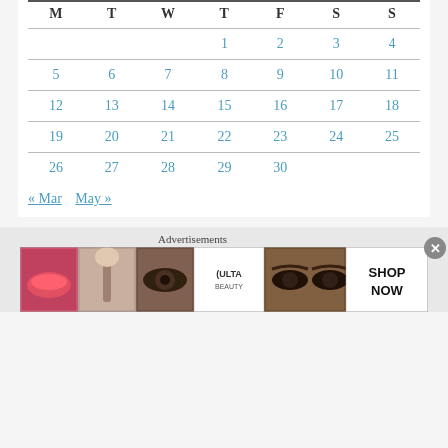| M | T | W | T | F | S | S |
| --- | --- | --- | --- | --- | --- | --- |
|  |  |  | 1 | 2 | 3 | 4 |
| 5 | 6 | 7 | 8 | 9 | 10 | 11 |
| 12 | 13 | 14 | 15 | 16 | 17 | 18 |
| 19 | 20 | 21 | 22 | 23 | 24 | 25 |
| 26 | 27 | 28 | 29 | 30 |  |  |
« Mar   May »
Advertisements
[Figure (infographic): Ulta Beauty advertisement banner showing makeup images and SHOP NOW text]